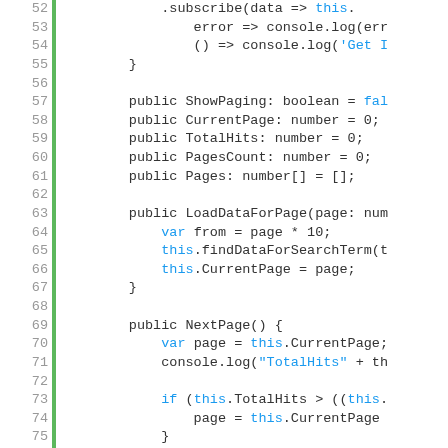[Figure (screenshot): Code editor screenshot showing TypeScript/JavaScript class code, lines 52-77, with green vertical bar on left and line numbers in gray. Code includes subscribe, ShowPaging, CurrentPage, TotalHits, PagesCount, Pages fields, LoadDataForPage and NextPage methods.]